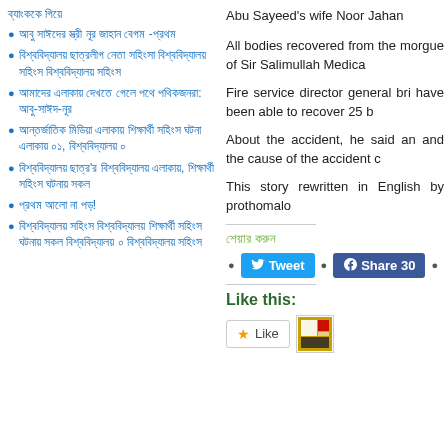ব্যাংককে গিয়ে
আবু সাঈদের স্ত্রী নূর জাহান বেগম -প্রথম
বিশ্ববিদ্যালয় ছাত্রলীগ নেতা সহিংসা বিশ্ববিদ্যালয় সহিংস বিশ্ববিদ্যালয় সহিংস
আমাদের এলাকায় দেখতে গেলে পথে পথিকজনরা: আবু-সাঈদ-নূর
আন্তর্জাতিক মিডিয়া এলাকায় শিক্ষার্থী সহিংস ঘটনা এলাকায় ০১, বিশ্ববিদ্যালয় ০
বিশ্ববিদ্যালয় ছাত্র'র বিশ্ববিদ্যালয় এলাকায়, শিক্ষার্থী সহিংস ঘটনায় সকল
প্রথম আলো না পড়!
বিশ্ববিদ্যালয় সহিংস বিশ্ববিদ্যালয় শিক্ষার্থী সহিংস ঘটনায় সকল বিশ্ববিদ্যালয় ০ বিশ্ববিদ্যালয় সহিংস
Abu Sayeed's wife Noor Jahan
All bodies recovered from the morgue of Sir Salimullah Medica
Fire service director general bri have been able to recover 25 b
About the accident, he said an and the cause of the accident c
This story rewritten in English by prothomalo
শেয়ার করুন
[Figure (screenshot): Tweet and Facebook Share 30 social share buttons]
Like this:
[Figure (screenshot): Like button and avatar icon]